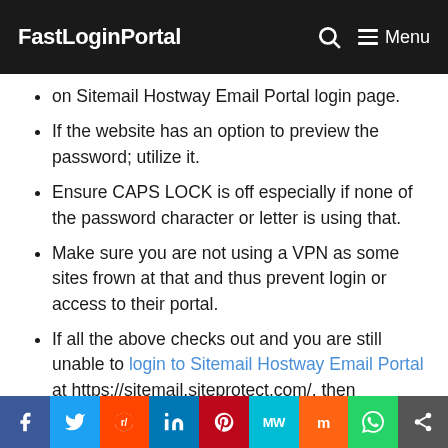FastLoginPortal
on Sitemail Hostway Email Portal login page.
If the website has an option to preview the password; utilize it.
Ensure CAPS LOCK is off especially if none of the password character or letter is using that.
Make sure you are not using a VPN as some sites frown at that and thus prevent login or access to their portal.
If all the above checks out and you are still unable to login to Sitemail Hostway Email Portal at https://sitemail.siteprotect.com/, then